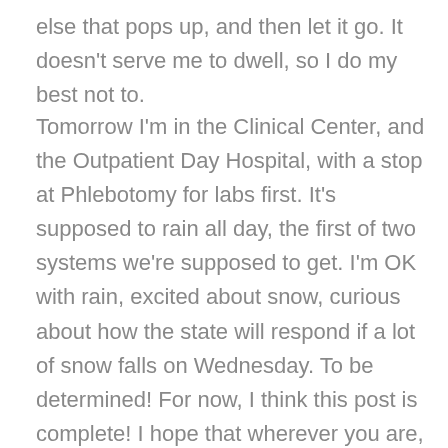else that pops up, and then let it go. It doesn't serve me to dwell, so I do my best not to.
Tomorrow I'm in the Clinical Center, and the Outpatient Day Hospital, with a stop at Phlebotomy for labs first. It's supposed to rain all day, the first of two systems we're supposed to get. I'm OK with rain, excited about snow, curious about how the state will respond if a lot of snow falls on Wednesday. To be determined! For now, I think this post is complete! I hope that wherever you are, you had a terrific weekend!